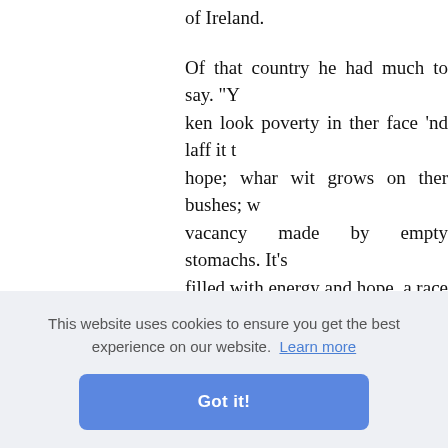of Ireland.
Of that country he had much to say. "Y ken look poverty in ther face 'nd laff it t hope; whar wit grows on ther bushes; w vacancy made by empty stomachs. It's filled with energy and hope, a race as is 'em vitality enough ter found a dozen hate of the bruiser on this side of the which ther kentry couldn't support ef c little in it 'cept wrong 'nd tyranny 'nd s all ther work of no avail because uv in 'nd only accomplishin' somethin' when 's battles nesses, ru ar pitiful. nerican, t nd when months o eyes flashed 'nd ther faces glowed! It te
This website uses cookies to ensure you get the best experience on our website. Learn more
Got it!